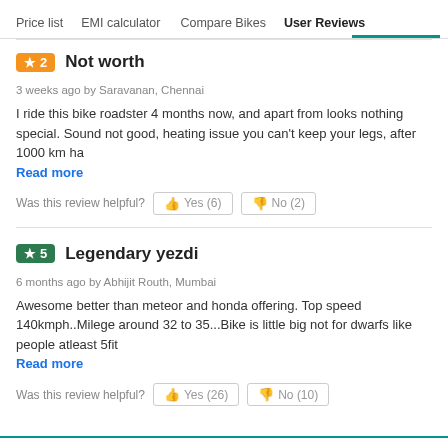Price list   EMI calculator   Compare Bikes   User Reviews
★ 2  Not worth
3 weeks ago by Saravanan, Chennai
I ride this bike roadster 4 months now, and apart from looks nothing special. Sound not good, heating issue you can't keep your legs, after 1000 km ha
Read more
Was this review helpful?  Yes (6)  No (2)
★ 5  Legendary yezdi
6 months ago by Abhijit Routh, Mumbai
Awesome better than meteor and honda offering. Top speed 140kmph..Milege around 32 to 35...Bike is little big not for dwarfs like people atleast 5fit
Read more
Was this review helpful?  Yes (26)  No (10)